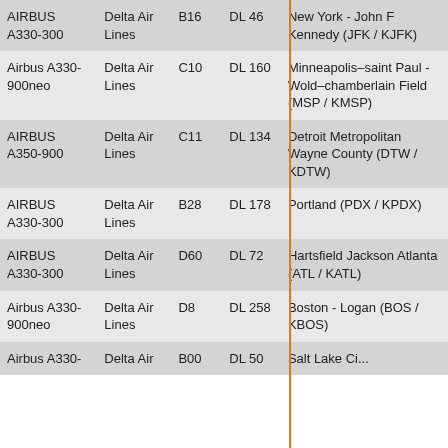| Aircraft | Airline | Gate | Flight | Destination |
| --- | --- | --- | --- | --- |
| AIRBUS A330-300 | Delta Air Lines | B16 | DL 46 | New York - John F Kennedy (JFK / KJFK) |
| Airbus A330-900neo | Delta Air Lines | C10 | DL 160 | Minneapolis–saint Paul - Wold–chamberlain Field (MSP / KMSP) |
| AIRBUS A350-900 | Delta Air Lines | C11 | DL 134 | Detroit Metropolitan Wayne County (DTW / KDTW) |
| AIRBUS A330-300 | Delta Air Lines | B28 | DL 178 | Portland (PDX / KPDX) |
| AIRBUS A330-300 | Delta Air Lines | D60 | DL 72 | Hartsfield Jackson Atlanta (ATL / KATL) |
| Airbus A330-900neo | Delta Air Lines | D8 | DL 258 | Boston - Logan (BOS / KBOS) |
| Airbus A330- | Delta Air | B00 | DL 50 | Salt Lake Ci... |